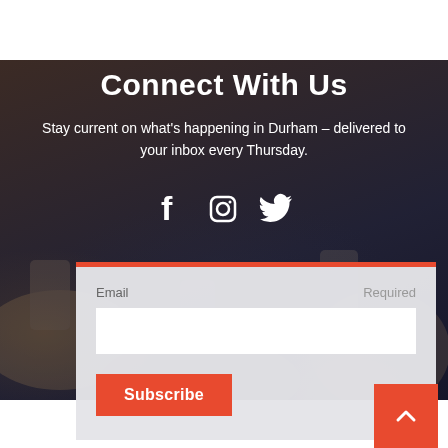[Figure (photo): Background photo of people using smartphones, overlaid with dark tint]
Connect With Us
Stay current on what's happening in Durham – delivered to your inbox every Thursday.
[Figure (infographic): Social media icons: Facebook, Instagram, Twitter]
Email
Required
Subscribe